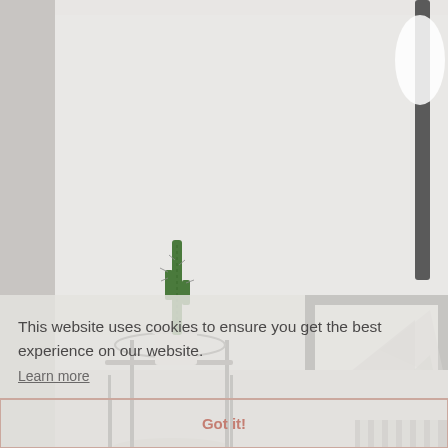[Figure (photo): Minimalist interior room scene with a cactus in a white vase on a chair, a framed geometric art print on the right, and soft neutral tones. Background wall is light grey/white.]
This website uses cookies to ensure you get the best experience on our website.
Learn more
Got it!